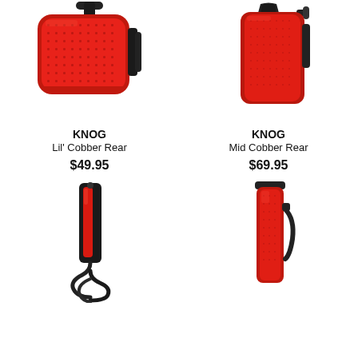[Figure (photo): KNOG Lil' Cobber Rear bicycle light, red, with black mounting bracket, front-facing view]
KNOG
Lil' Cobber Rear
$49.95
[Figure (photo): KNOG Mid Cobber Rear bicycle light, red, tall cylindrical shape with black clip]
KNOG
Mid Cobber Rear
$69.95
[Figure (photo): KNOG bicycle rear light, slim red rectangular shape with black coiled mounting strap, side view]
[Figure (photo): KNOG bicycle rear light, tall slim red rectangular with black clip bracket, side view]